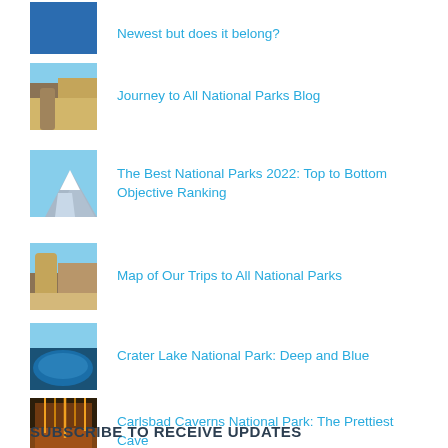Newest but does it belong?
Journey to All National Parks Blog
The Best National Parks 2022: Top to Bottom Objective Ranking
Map of Our Trips to All National Parks
Crater Lake National Park: Deep and Blue
Carlsbad Caverns National Park: The Prettiest Cave
SUBSCRIBE TO RECEIVE UPDATES